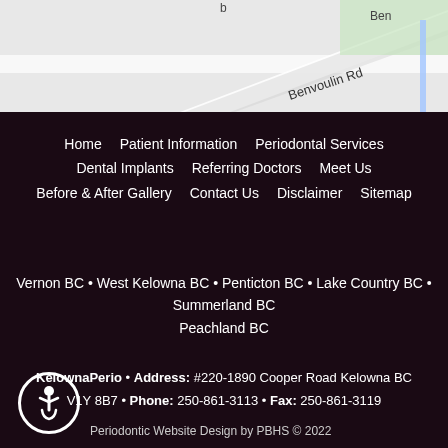[Figure (map): Partial street map showing Benvoulin Rd intersection area]
Home   Patient Information   Periodontal Services
Dental Implants   Referring Doctors   Meet Us
Before & After Gallery   Contact Us   Disclaimer   Sitemap
Vernon BC • West Kelowna BC • Penticton BC • Lake Country BC • Summerland BC
Peachland BC
KelownaPerio • Address: #220-1890 Cooper Road Kelowna BC V1Y 8B7 • Phone: 250-861-3113 • Fax: 250-861-3119
Periodontic Website Design by PBHS © 2022